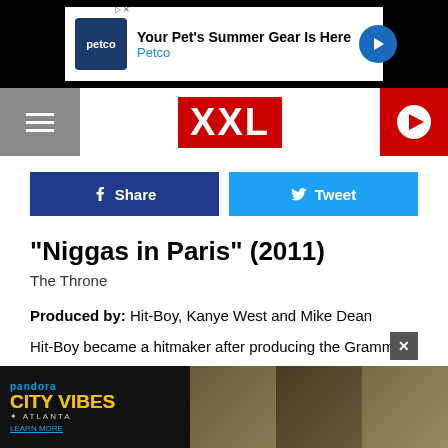[Figure (screenshot): Petco advertisement banner: 'Your Pet's Summer Gear Is Here' with Petco logo and navigation arrow]
XXL
[Figure (screenshot): Facebook Share and Twitter Tweet buttons]
“Niggas in Paris” (2011)
The Throne
Produced by: Hit-Boy, Kanye West and Mike Dean
Hit-Boy became a hitmaker after producing the Grammy-winning single “Niggas in Paris” for Jay-Z and Kanye West. A club anthem with video game vibes, the instrumental was reportedly first shared by producer Sample To Note, cited as one
[Figure (screenshot): Pandora City Vibes Atlanta advertisement with musicians in background, close button overlay]